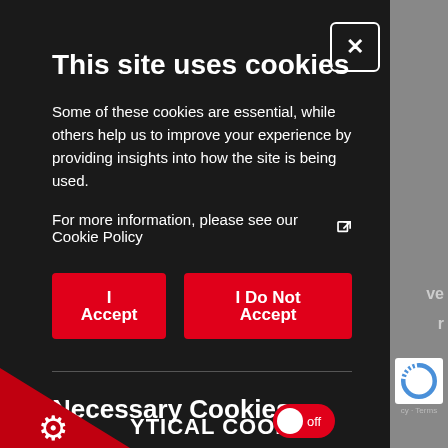This site uses cookies
Some of these cookies are essential, while others help us to improve your experience by providing insights into how the site is being used.
For more information, please see our Cookie Policy
I Accept
I Do Not Accept
Necessary Cookies
Necessary cookies enable core functionality. The website cannot function properly without these cookies, and can only be disabled by changing your browser preferences.
YTICAL COOKIES